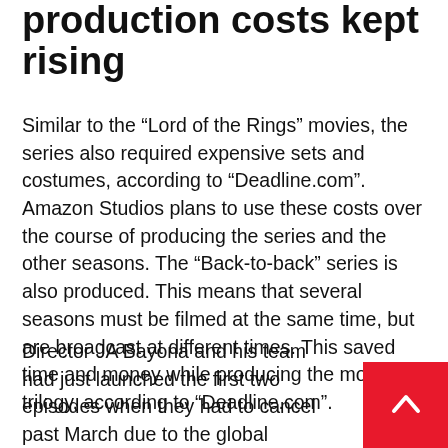production costs kept rising
Similar to the “Lord of the Rings” movies, the series also required expensive sets and costumes, according to “Deadline.com”. Amazon Studios plans to use these costs over the course of producing the series and the other seasons. The “Back-to-back” series is also produced. This means that several seasons must be filmed at the same time, but are broadcast at different times. This saved time and money while producing the movie trilogy, according to “Deadline.com”.
Director JA Bayona and his team had just launched the first two episodes when they had to cancel past March due to the global pandemic. The shooting continued in September. Meanwhile